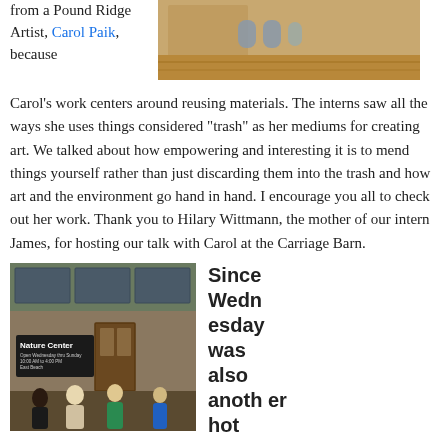from a Pound Ridge Artist, Carol Paik, because
[Figure (photo): Photo of items on a wooden surface, likely art materials or small objects]
Carol's work centers around reusing materials. The interns saw all the ways she uses things considered “trash” as her mediums for creating art. We talked about how empowering and interesting it is to mend things yourself rather than just discarding them into the trash and how art and the environment go hand in hand. I encourage you all to check out her work. Thank you to Hilary Wittmann, the mother of our intern James, for hosting our talk with Carol at the Carriage Barn.
[Figure (photo): Photo of a Nature Center building exterior with a sign reading 'Nature Center, Open Wednesday thru Sunday 10:00 AM to 4:00 PM, East Beach', and people gathered outside]
Since Wednesday was also another hot